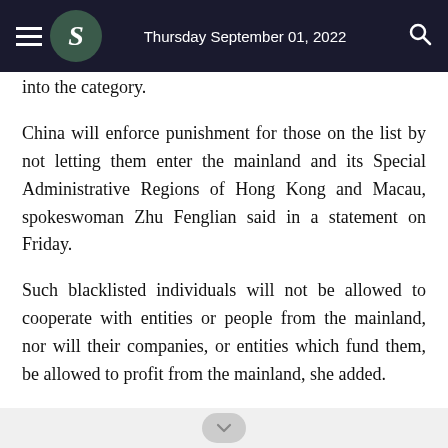Thursday September 01, 2022
into the category.
China will enforce punishment for those on the list by not letting them enter the mainland and its Special Administrative Regions of Hong Kong and Macau, spokeswoman Zhu Fenglian said in a statement on Friday.
Such blacklisted individuals will not be allowed to cooperate with entities or people from the mainland, nor will their companies, or entities which fund them, be allowed to profit from the mainland, she added.